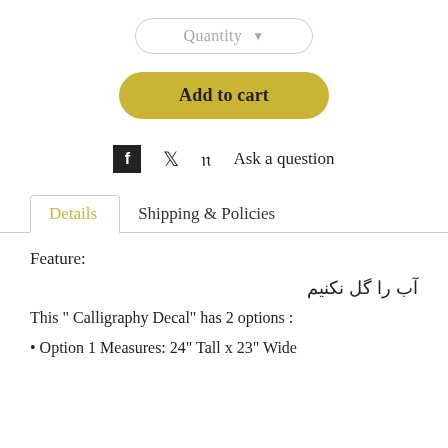[Figure (screenshot): Quantity dropdown pill button]
[Figure (screenshot): Add to cart yellow button]
[Figure (screenshot): Social share icons: Facebook, Twitter, Pinterest, and Ask a question link]
Details | Shipping & Policies
Feature:
آب را گل نکنیم
This " Calligraphy Decal" has 2 options :
• Option 1 Measures: 24" Tall x 23" Wide